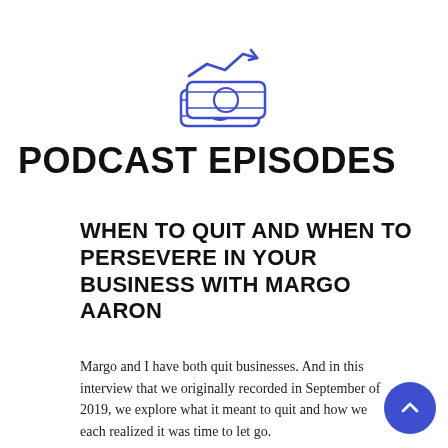[Figure (illustration): A blue line-art icon showing stacked coins/cash with an upward-trending arrow/chart above them, representing financial growth or investment.]
PODCAST EPISODES
WHEN TO QUIT AND WHEN TO PERSEVERE IN YOUR BUSINESS WITH MARGO AARON
Margo and I have both quit businesses. And in this interview that we originally recorded in September of 2019, we explore what it meant to quit and how we each realized it was time to let go.